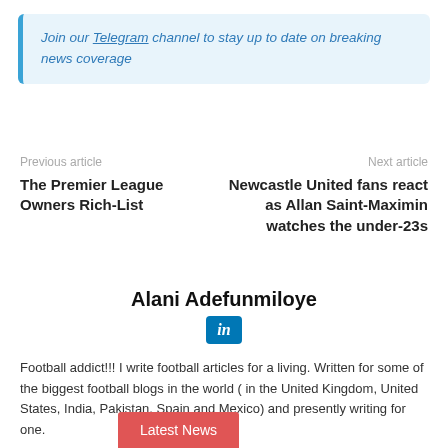Join our Telegram channel to stay up to date on breaking news coverage
Previous article
Next article
The Premier League Owners Rich-List
Newcastle United fans react as Allan Saint-Maximin watches the under-23s
Alani Adefunmiloye
[Figure (logo): LinkedIn icon - blue rounded square with stylized 'in' text]
Football addict!!! I write football articles for a living. Written for some of the biggest football blogs in the world ( in the United Kingdom, United States, India, Pakistan, Spain and Mexico) and presently writing for one.
Latest News